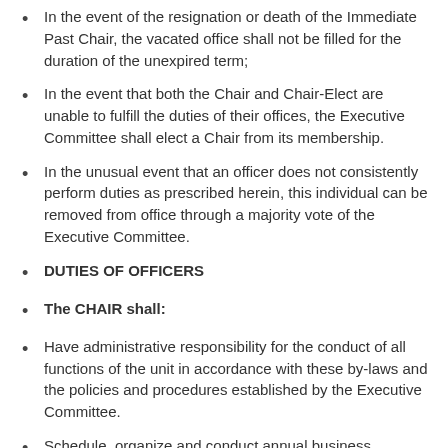In the event of the resignation or death of the Immediate Past Chair, the vacated office shall not be filled for the duration of the unexpired term;
In the event that both the Chair and Chair-Elect are unable to fulfill the duties of their offices, the Executive Committee shall elect a Chair from its membership.
In the unusual event that an officer does not consistently perform duties as prescribed herein, this individual can be removed from office through a majority vote of the Executive Committee.
DUTIES OF OFFICERS
The CHAIR shall:
Have administrative responsibility for the conduct of all functions of the unit in accordance with these by-laws and the policies and procedures established by the Executive Committee.
Schedule, organize and conduct annual business meetings of the unit and all meetings of the Executive Committee.